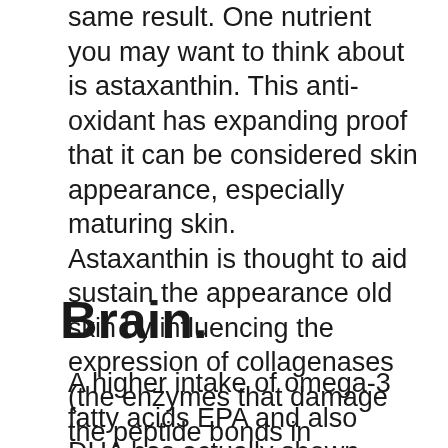same result. One nutrient you may want to think about is astaxanthin. This anti-oxidant has expanding proof that it can be considered skin appearance, especially maturing skin. Astaxanthin is thought to aid sustain the appearance old skin by influencing the expression of collagenases (the enzymes that damage the peptide bonds in collagen). Krill oil is an all-natural source of astaxanthin, and also it is the component responsible for krill oil's bright red 'pop'.
Brain.
A higher intake of omega-3 fatty acids EPA and also DHA has actually shown prospective in sustaining cognitive feature, especially for